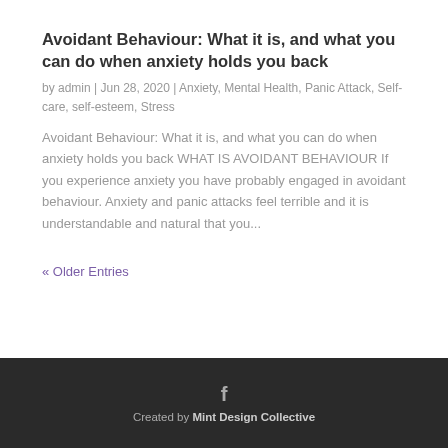Avoidant Behaviour: What it is, and what you can do when anxiety holds you back
by admin | Jun 28, 2020 | Anxiety, Mental Health, Panic Attack, Self-care, self-esteem, Stress
Avoidant Behaviour: What it is, and what you can do when anxiety holds you back WHAT IS AVOIDANT BEHAVIOUR If you experience anxiety you have probably engaged in avoidant behaviour. Anxiety and panic attacks feel terrible and it is understandable and natural that you...
« Older Entries
Created by Mint Design Collective